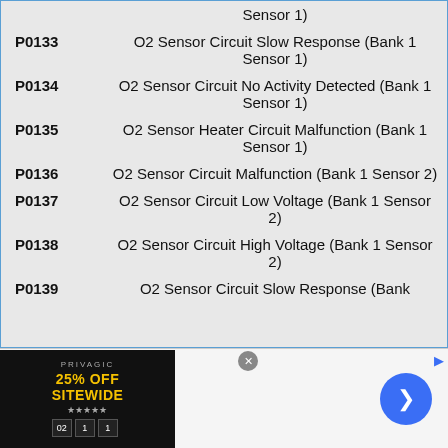| Code | Description |
| --- | --- |
|  | Sensor 1) |
| P0133 | O2 Sensor Circuit Slow Response (Bank 1 Sensor 1) |
| P0134 | O2 Sensor Circuit No Activity Detected (Bank 1 Sensor 1) |
| P0135 | O2 Sensor Heater Circuit Malfunction (Bank 1 Sensor 1) |
| P0136 | O2 Sensor Circuit Malfunction (Bank 1 Sensor 2) |
| P0137 | O2 Sensor Circuit Low Voltage (Bank 1 Sensor 2) |
| P0138 | O2 Sensor Circuit High Voltage (Bank 1 Sensor 2) |
| P0139 | O2 Sensor Circuit Slow Response (Bank |
[Figure (other): Advertisement banner: 25% OFF SITEWIDE with countdown timer, close button, and arrow navigation button]